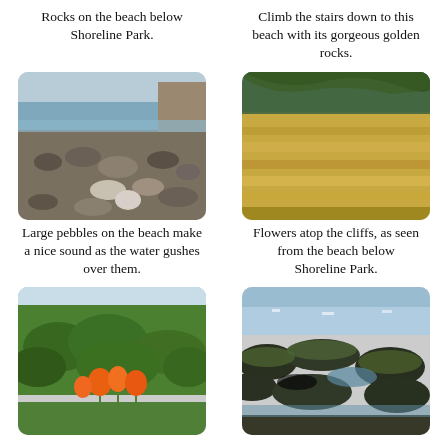Rocks on the beach below Shoreline Park.
Climb the stairs down to this beach with its gorgeous golden rocks.
[Figure (photo): Rocky beach shoreline with large pebbles and ocean water, cliffs in background]
[Figure (photo): Golden layered sandstone cliffs with green trees and shrubs above]
Large pebbles on the beach make a nice sound as the water gushes over them.
Flowers atop the cliffs, as seen from the beach below Shoreline Park.
[Figure (photo): Orange California poppies among green foliage with ocean in background]
[Figure (photo): Mossy dark rocks in shallow tide pool water with sparkly ocean beyond]
Poppies in early April.
Mossy rocks and tide pools.